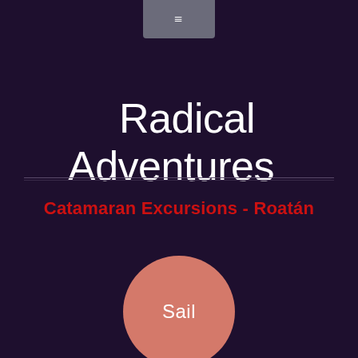≡
Radical Adventures
Catamaran Excursions - Roatán
Sail